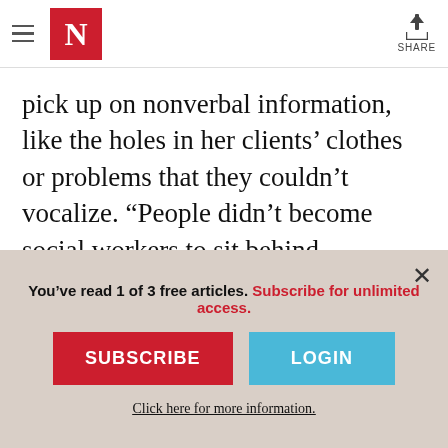The Nation - Navigation header with hamburger menu, N logo, and share button
pick up on nonverbal information, like the holes in her clients’ clothes or problems that they couldn’t vocalize. “People didn’t become social workers to sit behind computers all day,” DeLashaw said. “I don’t believe we can do the best of our jobs with the cuts they’ve made.”
Shirley Mayhue works side hustles and clips
You’ve read 1 of 3 free articles. Subscribe for unlimited access.
SUBSCRIBE
LOGIN
Click here for more information.